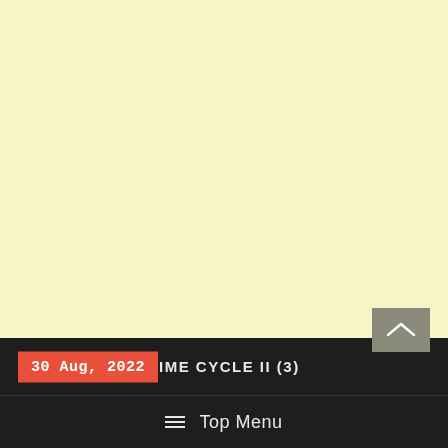30 Aug, 2022  TIME CYCLE II (3)  Top Menu